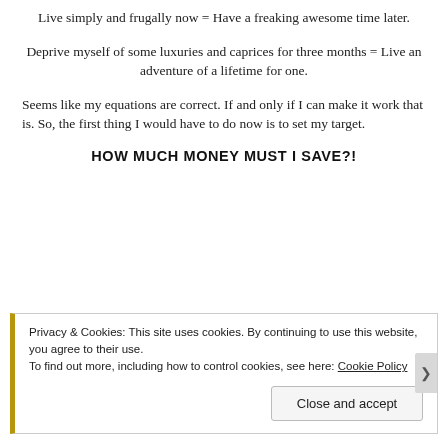Live simply and frugally now = Have a freaking awesome time later.
Deprive myself of some luxuries and caprices for three months = Live an adventure of a lifetime for one.
Seems like my equations are correct. If and only if I can make it work that is. So, the first thing I would have to do now is to set my target.
HOW MUCH MONEY MUST I SAVE?!
Privacy & Cookies: This site uses cookies. By continuing to use this website, you agree to their use.
To find out more, including how to control cookies, see here: Cookie Policy
Close and accept